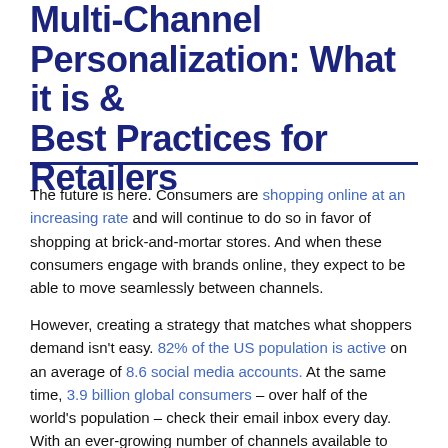Multi-Channel Personalization: What it is & Best Practices for Retailers
The future is here. Consumers are shopping online at an increasing rate and will continue to do so in favor of shopping at brick-and-mortar stores. And when these consumers engage with brands online, they expect to be able to move seamlessly between channels.
However, creating a strategy that matches what shoppers demand isn't easy. 82% of the US population is active on an average of 8.6 social media accounts. At the same time, 3.9 billion global consumers – over half of the world's population – check their email inbox every day. With an ever-growing number of channels available to consumers, learning how to connect a multitude of disparate